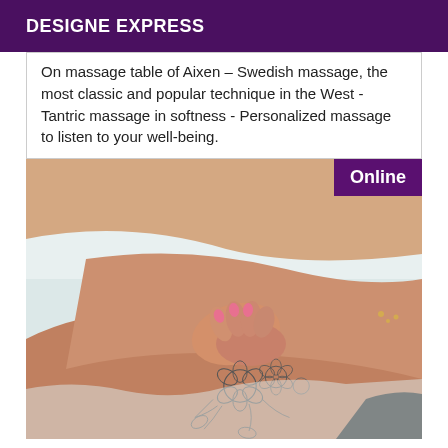DESIGNE EXPRESS
On massage table of Aixen – Swedish massage, the most classic and popular technique in the West - Tantric massage in softness - Personalized massage to listen to your well-being.
[Figure (photo): Photo of a person lying on a white bed/massage table with a floral tattoo visible on the lower body area. An 'Online' badge appears in the top-right corner of the image.]